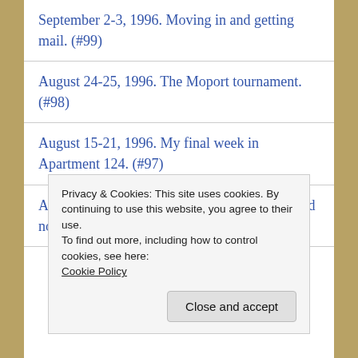September 2-3, 1996. Moving in and getting mail. (#99)
August 24-25, 1996. The Moport tournament. (#98)
August 15-21, 1996. My final week in Apartment 124. (#97)
August 10, 1996. One thousand red roses would not be quite enough. (#96)
Privacy & Cookies: This site uses cookies. By continuing to use this website, you agree to their use.
To find out more, including how to control cookies, see here: Cookie Policy
Close and accept